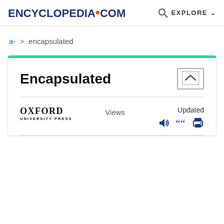ENCYCLopedia.com  EXPLORE
a-  >  encapsulated
Encapsulated
[Figure (logo): Oxford University Press logo with text OXFORD UNIVERSITY PRESS]
Views
Updated